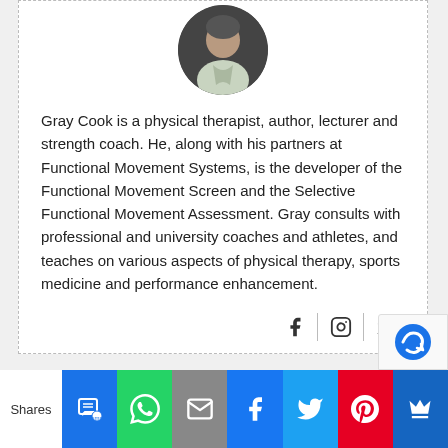[Figure (photo): Circular cropped headshot of Gray Cook, a man in a light-colored collared shirt against a dark background]
Gray Cook is a physical therapist, author, lecturer and strength coach. He, along with his partners at Functional Movement Systems, is the developer of the Functional Movement Screen and the Selective Functional Movement Assessment. Gray consults with professional and university coaches and athletes, and teaches on various aspects of physical therapy, sports medicine and performance enhancement.
[Figure (infographic): Social sharing icons bar at the bottom with SMS, WhatsApp, Email, Facebook, Twitter, Pinterest, and a crown icon buttons. A 'Shares' label on the left.]